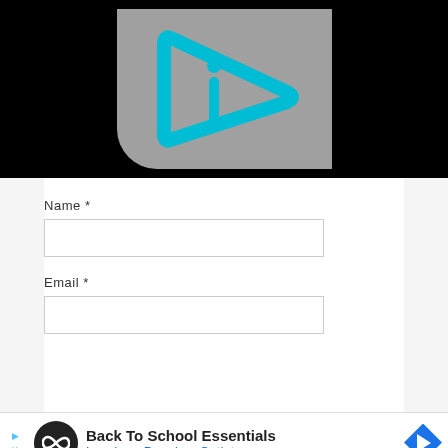[Figure (logo): A cyan/blue play-button style logo with an 'i' inside, on a gray rounded-corner background, centered on a black banner.]
Name *
Email *
[Figure (infographic): Advertisement banner: Back To School Essentials - Leesburg Premium Outlets, with a circular infinity-loop icon and a blue diamond navigation icon.]